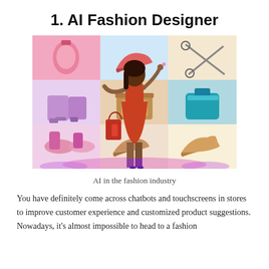1. AI Fashion Designer
[Figure (photo): A woman in an orange dress holding shopping bags, standing in front of a large illuminated wall display showing various fashion items including shoes, bags, and accessories.]
AI in the fashion industry
You have definitely come across chatbots and touchscreens in stores to improve customer experience and customized product suggestions. Nowadays, it's almost impossible to head to a fashion